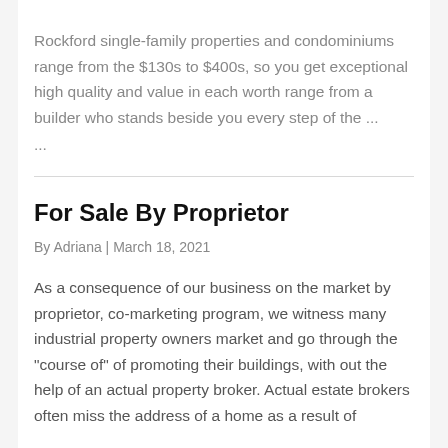Rockford single-family properties and condominiums range from the $130s to $400s, so you get exceptional high quality and value in each worth range from a builder who stands beside you every step of the ...
For Sale By Proprietor
By Adriana | March 18, 2021
As a consequence of our business on the market by proprietor, co-marketing program, we witness many industrial property owners market and go through the "course of" of promoting their buildings, with out the help of an actual property broker. Actual estate brokers often miss the address of a home as a result of